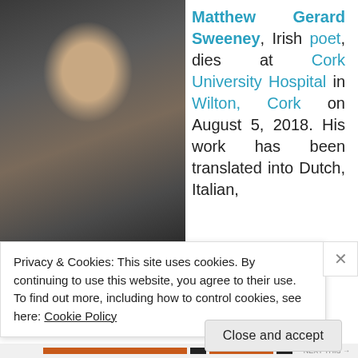[Figure (photo): A man with shoulder-length brown hair wearing a dark leather jacket and checked shirt, speaking at a lectern/book stand with a microphone, photographed indoors.]
Matthew Gerard Sweeney, Irish poet, dies at Cork University Hospital in Wilton, Cork on August 5, 2018. His work has been translated into Dutch, Italian,
Privacy & Cookies: This site uses cookies. By continuing to use this website, you agree to their use.
To find out more, including how to control cookies, see here: Cookie Policy
Close and accept